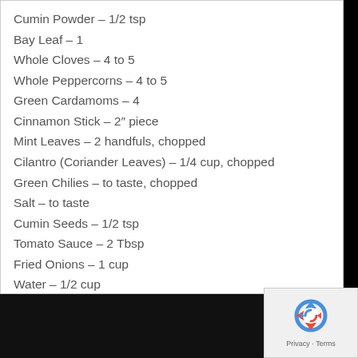Cumin Powder – 1/2 tsp
Bay Leaf – 1
Whole Cloves – 4 to 5
Whole Peppercorns – 4 to 5
Green Cardamoms – 4
Cinnamon Stick – 2″ piece
Mint Leaves – 2 handfuls, chopped
Cilantro (Coriander Leaves) – 1/4 cup, chopped
Green Chilies – to taste, chopped
Salt – to taste
Cumin Seeds – 1/2 tsp
Tomato Sauce – 2 Tbsp
Fried Onions – 1 cup
Water – 1/2 cup
For the seasoning:
[Figure (logo): reCAPTCHA logo with Privacy and Terms text]